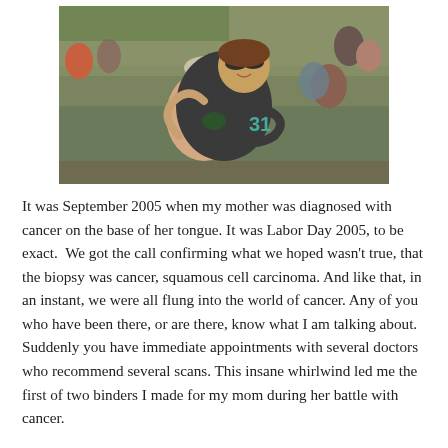[Figure (photo): Two women at a sports stadium, one older woman in front being hugged from behind by a younger woman wearing sunglasses and a dark jersey. Crowd visible in background.]
It was September 2005 when my mother was diagnosed with cancer on the base of her tongue. It was Labor Day 2005, to be exact.  We got the call confirming what we hoped wasn't true, that the biopsy was cancer, squamous cell carcinoma. And like that, in an instant, we were all flung into the world of cancer. Any of you who have been there, or are there, know what I am talking about. Suddenly you have immediate appointments with several doctors who recommend several scans. This insane whirlwind led me the first of two binders I made for my mom during her battle with cancer.